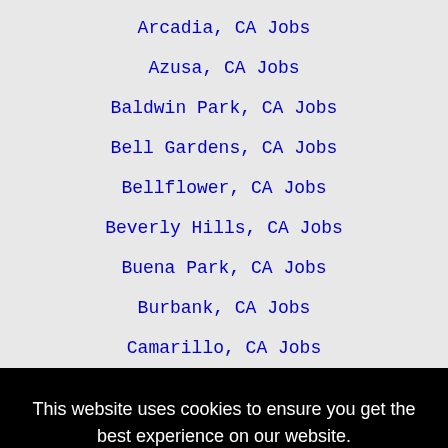Arcadia, CA Jobs
Azusa, CA Jobs
Baldwin Park, CA Jobs
Bell Gardens, CA Jobs
Bellflower, CA Jobs
Beverly Hills, CA Jobs
Buena Park, CA Jobs
Burbank, CA Jobs
Camarillo, CA Jobs
This website uses cookies to ensure you get the best experience on our website.
Learn more
Got it!
Compton, CA Jobs